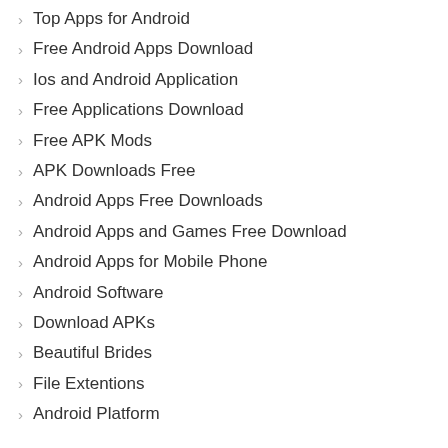Top Apps for Android
Free Android Apps Download
Ios and Android Application
Free Applications Download
Free APK Mods
APK Downloads Free
Android Apps Free Downloads
Android Apps and Games Free Download
Android Apps for Mobile Phone
Android Software
Download APKs
Beautiful Brides
File Extentions
Android Platform